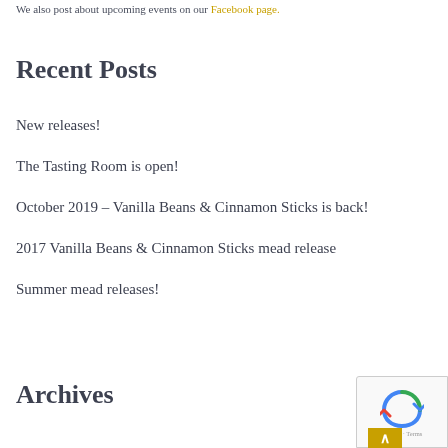We also post about upcoming events on our Facebook page.
Recent Posts
New releases!
The Tasting Room is open!
October 2019 – Vanilla Beans & Cinnamon Sticks is back!
2017 Vanilla Beans & Cinnamon Sticks mead release
Summer mead releases!
Archives